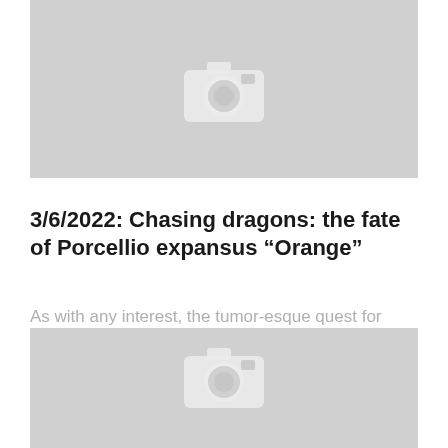[Figure (photo): Gray placeholder image with camera icon, partially visible at top of page]
3/6/2022: Chasing dragons: the fate of Porcellio expansus “Orange”
As with any interest, the tumor-esque quest for more leaves many victims in its wake. The isopod hobby, much like the Big Bang, witnessed unparalleled growth in a short time period, and has been...
[Figure (photo): Gray placeholder image with camera icon, partially visible at bottom of page]